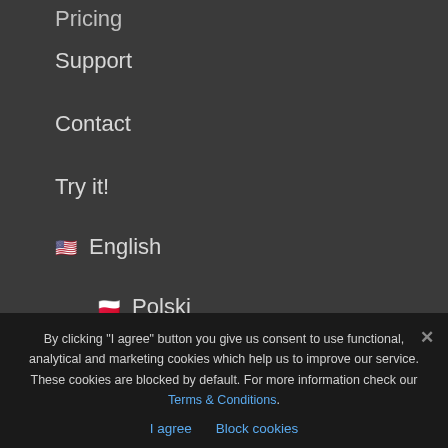Pricing
Support
Contact
Try it!
🇺🇸 English
🇵🇱 Polski
[Figure (infographic): Social media sidebar with Facebook (blue), Twitter (light blue), and LinkedIn (dark blue) icons]
CATEGORIES
Apps for business
By clicking "I agree" button you give us consent to use functional, analytical and marketing cookies which help us to improve our service. These cookies are blocked by default. For more information check our Terms & Conditions.
I agree   Block cookies